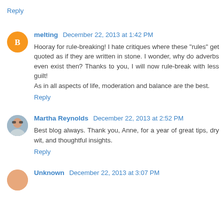Reply
melting  December 22, 2013 at 1:42 PM
Hooray for rule-breaking! I hate critiques where these "rules" get quoted as if they are written in stone. I wonder, why do adverbs even exist then? Thanks to you, I will now rule-break with less guilt!
As in all aspects of life, moderation and balance are the best.
Reply
Martha Reynolds  December 22, 2013 at 2:52 PM
Best blog always. Thank you, Anne, for a year of great tips, dry wit, and thoughtful insights.
Reply
Unknown  December 22, 2013 at 3:07 PM